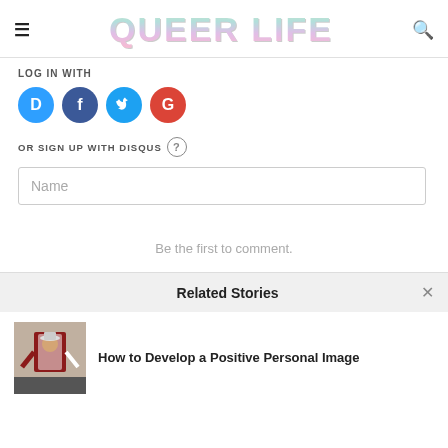QUEER LIFE
LOG IN WITH
[Figure (logo): Social login icons: Disqus (D), Facebook (f), Twitter bird, Google (G) in colored circles]
OR SIGN UP WITH DISQUS ?
Name
Be the first to comment.
Related Stories
[Figure (photo): Person in red and white outfit with hat]
How to Develop a Positive Personal Image